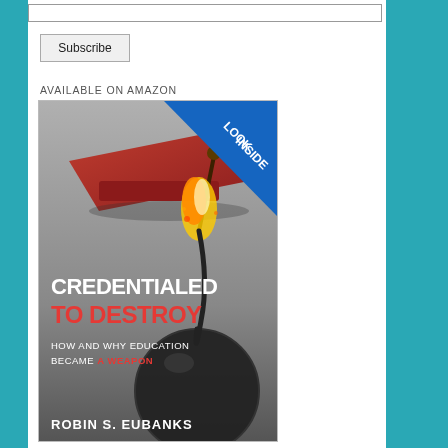[Figure (other): Input text field (subscribe email bar)]
Subscribe
AVAILABLE ON AMAZON
[Figure (photo): Book cover of 'Credentialed to Destroy: How and Why Education Became a Weapon' by Robin S. Eubanks, with a graduation cap on fire like a bomb fuse, and a 'Look Inside' badge on Amazon.]